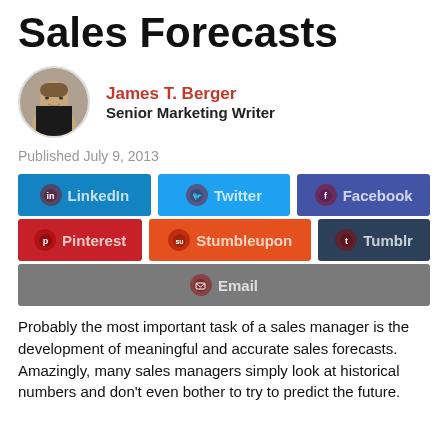Sales Forecasts
James T. Berger
Senior Marketing Writer
Published July 9, 2013
[Figure (other): Social sharing buttons: LinkedIn, Twitter, Facebook, Pinterest, Stumbleupon, Tumblr, Email]
Probably the most important task of a sales manager is the development of meaningful and accurate sales forecasts. Amazingly, many sales managers simply look at historical numbers and don't even bother to try to predict the future.